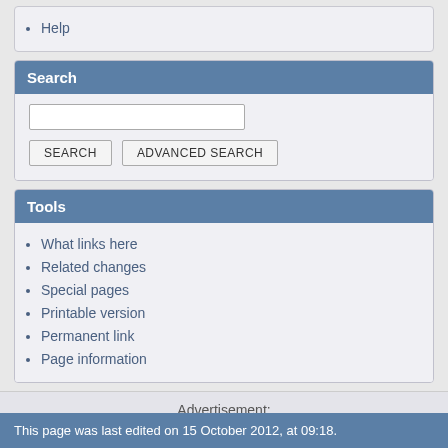Help
Search
Search input box with SEARCH and ADVANCED SEARCH buttons
Tools
What links here
Related changes
Special pages
Printable version
Permanent link
Page information
Advertisement:
This page was last edited on 15 October 2012, at 09:18.